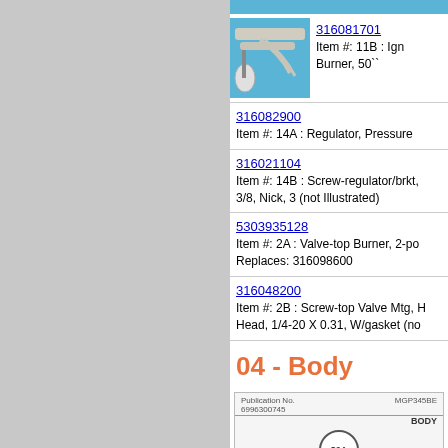[Figure (photo): Blue background strip at top of product listing]
[Figure (photo): Product photo of ignition wire/cable on blue background, part 316081701]
316081701
Item #: 11B : Ign Burner, 50``
316082900
Item #: 14A : Regulator, Pressure
316021104
Item #: 14B : Screw-regulator/brkt, 3/8, Nick, 3 (not Illustrated)
5303935128
Item #: 2A : Valve-top Burner, 2-pos Replaces: 316098600
316048200
Item #: 2B : Screw-top Valve Mtg, Head, 1/4-20 X 0.31, W/gasket (no
04 - Body
[Figure (engineering-diagram): Diagram showing Publication No. 6996300745, model MGP345BE, with BODY label and item 30A circle marker]